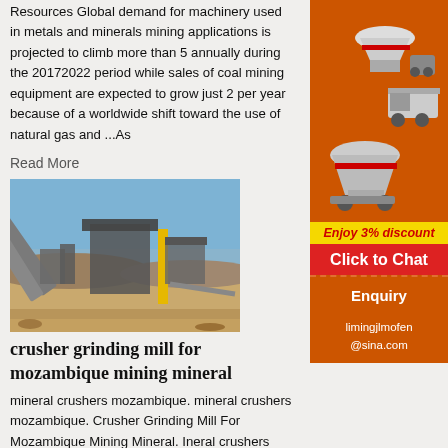Resources Global demand for machinery used in metals and minerals mining applications is projected to climb more than 5 annually during the 20172022 period while sales of coal mining equipment are expected to grow just 2 per year because of a worldwide shift toward the use of natural gas and ...As
Read More
[Figure (photo): Mining facility with conveyor belts, large equipment, yellow pillar, open-pit desert environment]
crusher grinding mill for mozambique mining mineral
mineral crushers mozambique. mineral crushers mozambique. Crusher Grinding Mill For Mozambique Mining Mineral. Ineral crushers mozambique crusher grinding mill for mozambique mining mineral a crusher is a machine designed to reduce large rocks into smaller
[Figure (photo): Advertisement showing mining machinery equipment on orange background]
Enjoy 3% discount
Click to Chat
Enquiry
limingjlmofen@sina.com